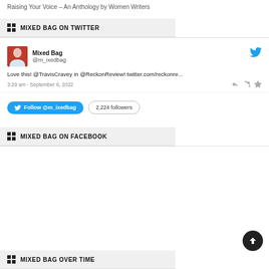Raising Your Voice – An Anthology by Women Writers
MIXED BAG ON TWITTER
Mixed Bag @m_ixedbag
Love this! @TravisCravey in @ReckonReview! twitter.com/reckonre...
3:29 am · September 6, 2022
Follow @m_ixedbag   2,224 followers
MIXED BAG ON FACEBOOK
MIXED BAG OVER TIME